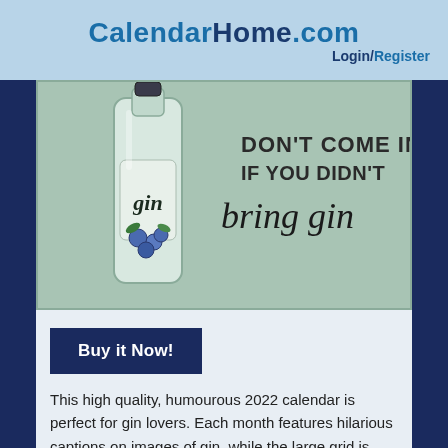CalendarHome.com Login/Register
[Figure (illustration): A gin bottle illustration with blueberries inside, on a mint/sage green background, with text reading 'DON'T COME IN IF YOU DIDN'T bring gin' in a mix of block and script lettering]
Buy it Now!
This high quality, humourous 2022 calendar is perfect for gin lovers. Each month features hilarious captions on images of gin, while the large grid is ideal for the home and office with space for birthdays and notes.This calendar is perfect as d?cor in yo
...